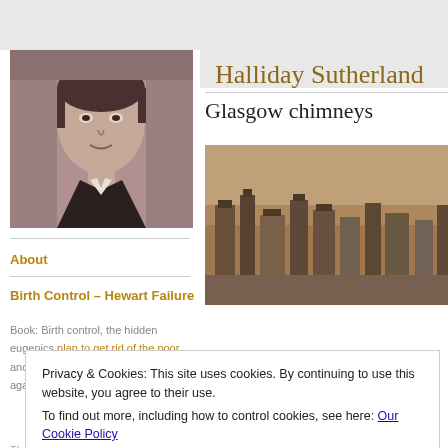[Figure (photo): Black and white/sepia portrait photo of Halliday Sutherland, a young man in formal attire]
Halliday Sutherland
About
Birth Control – Hewart Failure
Book: Birth control, the hidden eugenics plan to get rid of the poor and the Scottish doctor who fought against it.
The uncensored draft of Dr.
Glasgow chimneys
[Figure (photo): Sepia/brown photograph of Glasgow chimneys or rooftop industrial scene]
Privacy & Cookies: This site uses cookies. By continuing to use this website, you agree to their use.
To find out more, including how to control cookies, see here: Our Cookie Policy
Close and accept